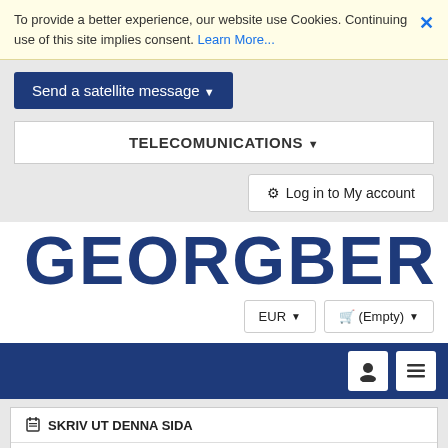To provide a better experience, our website use Cookies. Continuing use of this site implies consent. Learn More...
Send a satellite message ▼
TELECOMUNICATIONS ▼
⚙ Log in to My account
[Figure (logo): Partial logo text in large bold dark blue rounded letters, partially visible, reading something like GEORDERED or similar brand name]
EUR ▼
🛒 (Empty) ▼
SKRIV UT DENNA SIDA
LADDA NER PDF AV DENNA AIRTIME PLAN